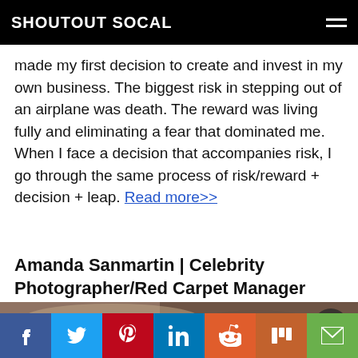SHOUTOUT SOCAL
made my first decision to create and invest in my own business. The biggest risk in stepping out of an airplane was death. The reward was living fully and eliminating a fear that dominated me. When I face a decision that accompanies risk, I go through the same process of risk/reward + decision + leap. Read more>>
Amanda Sanmartin | Celebrity Photographer/Red Carpet Manager
[Figure (photo): Close-up photo of a woman's face showing forehead and eyes with dark wavy hair]
Social share bar: Facebook, Twitter, Pinterest, LinkedIn, Reddit, Mix, Email